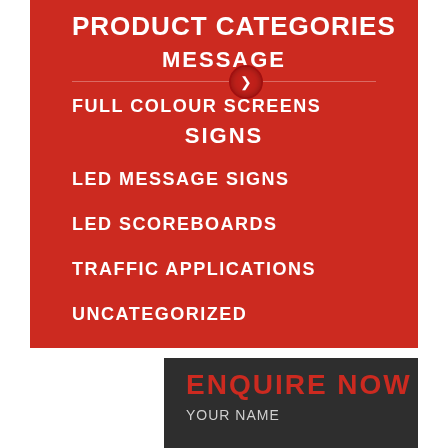PRODUCT CATEGORIES
MESSAGE
FULL COLOUR SCREENS
SIGNS
LED MESSAGE SIGNS
LED SCOREBOARDS
TRAFFIC APPLICATIONS
UNCATEGORIZED
ENQUIRE NOW
YOUR NAME